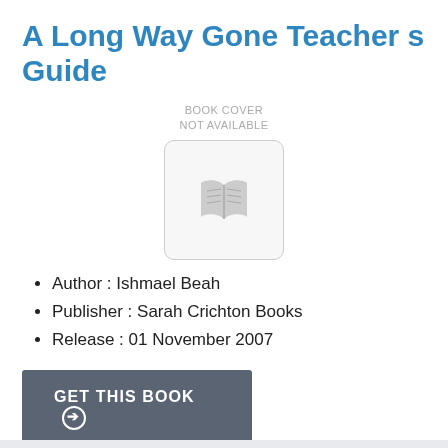A Long Way Gone Teacher s Guide
[Figure (illustration): Book cover placeholder: grey rounded rectangle box with a grey open-book icon, labeled 'BOOK COVER NOT AVAILABLE' above]
Author : Ishmael Beah
Publisher : Sarah Crichton Books
Release : 01 November 2007
GET THIS BOOK →